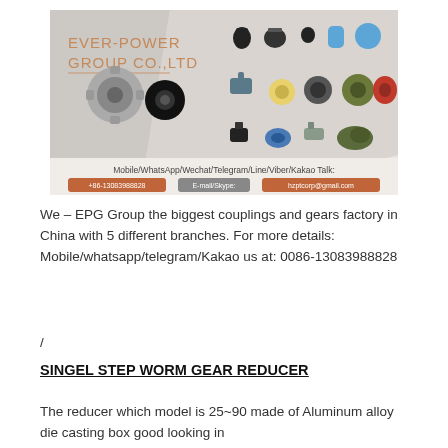[Figure (illustration): Ever-Power Group Co.,Ltd banner showing various mechanical couplings and gear parts with contact information including phone +86-13083988828, email hzptcorp@gmail.com]
We – EPG Group the biggest couplings and gears factory in China with 5 different branches. For more details: Mobile/whatsapp/telegram/Kakao us at: 0086-13083988828
/
SINGEL STEP WORM GEAR REDUCER
The reducer which model is 25~90 made of Aluminum alloy die casting box good looking in